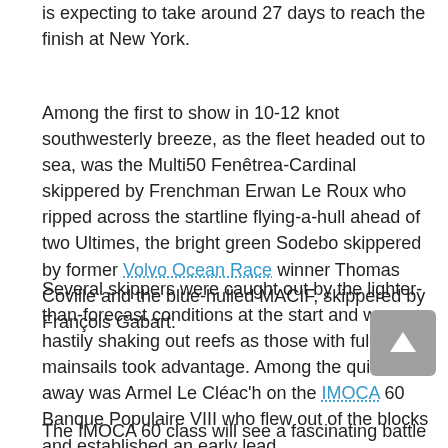is expecting to take around 27 days to reach the finish at New York.
Among the first to show in 10-12 knot southwesterly breeze, as the fleet headed out to sea, was the Multi50 Fenêtrea-Cardinal skippered by Frenchman Erwan Le Roux who ripped across the startline flying-a-hull ahead of two Ultimes, the bright green Sodebo skippered by former Volvo Ocean Race winner Thomas Coville and the blue-hulled MACIF, skippered by François Gabart.
Several skippers were caught out by the lighter-than-forecast conditions at the start and were hastily shaking out reefs as those with full mainsails took advantage. Among the quickest away was Armel Le Cléac'h on the IMOCA 60 Banque Populaire VIII who flew out of the blocks and established an early lead.
The IMOCA 60 class will see a fascinating battle over